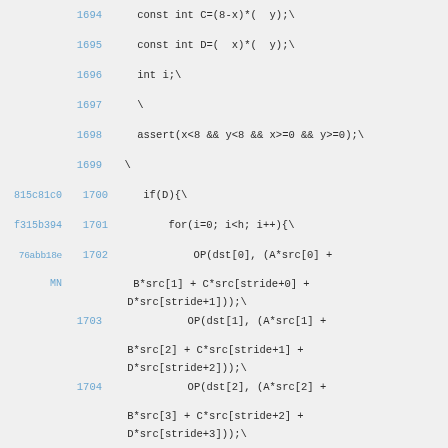1694    const int C=(8-x)*( y);\
1695    const int D=( x)*( y);\
1696    int i;\
1697    \
1698    assert(x<8 && y<8 && x>=0 && y>=0);\
1699    \
815c81c0 1700    if(D){\
f315b394 1701        for(i=0; i<h; i++){\
76abb18e MN 1702            OP(dst[0], (A*src[0] + B*src[1] + C*src[stride+0] + D*src[stride+1]));\
1703            OP(dst[1], (A*src[1] + B*src[2] + C*src[stride+1] + D*src[stride+2]));\
1704            OP(dst[2], (A*src[2] + B*src[3] + C*src[stride+2] + D*src[stride+3]));\
1705            OP(dst[3], (A*src[3] +